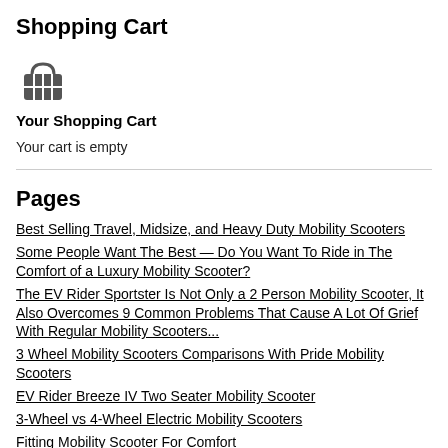Shopping Cart
[Figure (illustration): Shopping basket / cart icon in dark gray]
Your Shopping Cart
Your cart is empty
Pages
Best Selling Travel, Midsize, and Heavy Duty Mobility Scooters
Some People Want The Best — Do You Want To Ride in The Comfort of a Luxury Mobility Scooter?
The EV Rider Sportster Is Not Only a 2 Person Mobility Scooter, It Also Overcomes 9 Common Problems That Cause A Lot Of Grief With Regular Mobility Scooters...
3 Wheel Mobility Scooters Comparisons With Pride Mobility Scooters
EV Rider Breeze IV Two Seater Mobility Scooter
3-Wheel vs 4-Wheel Electric Mobility Scooters
Fitting Mobility Scooter For Comfort
Do You Know Your Mobility Scooter Danger Zones?